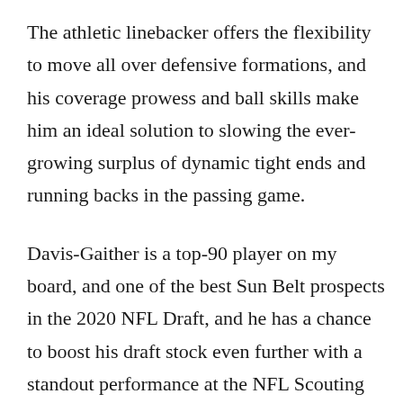The athletic linebacker offers the flexibility to move all over defensive formations, and his coverage prowess and ball skills make him an ideal solution to slowing the ever-growing surplus of dynamic tight ends and running backs in the passing game.
Davis-Gaither is a top-90 player on my board, and one of the best Sun Belt prospects in the 2020 NFL Draft, and he has a chance to boost his draft stock even further with a standout performance at the NFL Scouting Combine later this month.